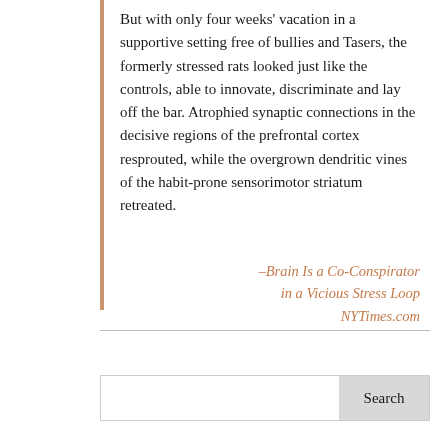But with only four weeks' vacation in a supportive setting free of bullies and Tasers, the formerly stressed rats looked just like the controls, able to innovate, discriminate and lay off the bar. Atrophied synaptic connections in the decisive regions of the prefrontal cortex resprouted, while the overgrown dendritic vines of the habit-prone sensorimotor striatum retreated.
–Brain Is a Co-Conspirator in a Vicious Stress Loop NYTimes.com